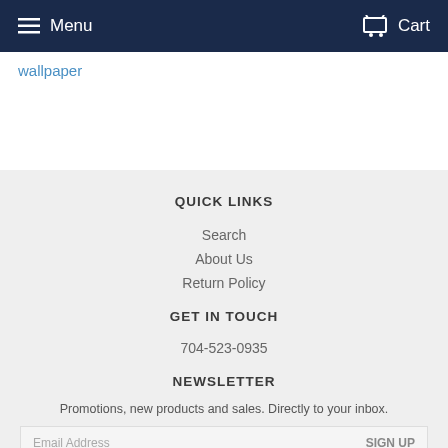Menu  Cart
wallpaper
QUICK LINKS
Search
About Us
Return Policy
GET IN TOUCH
704-523-0935
NEWSLETTER
Promotions, new products and sales. Directly to your inbox.
Email Address  SIGN UP